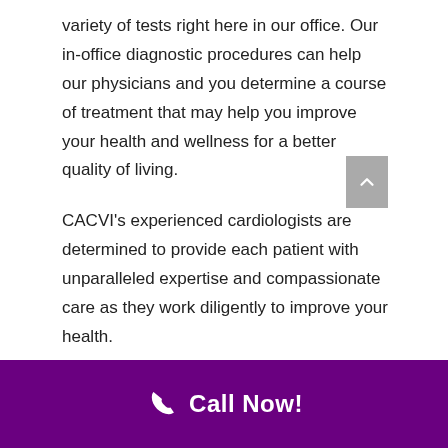variety of tests right here in our office. Our in-office diagnostic procedures can help our physicians and you determine a course of treatment that may help you improve your health and wellness for a better quality of living.
CACVI’s experienced cardiologists are determined to provide each patient with unparalleled expertise and compassionate care as they work diligently to improve your health.
Call Now!